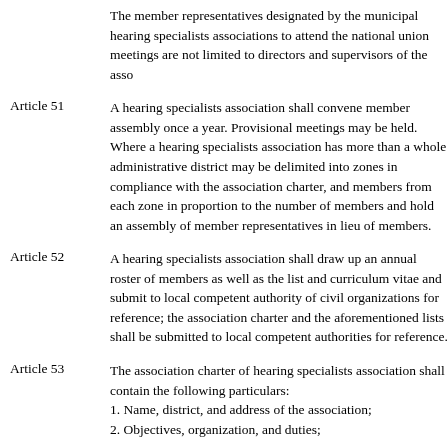The member representatives designated by the municipal hearing specialists associations to attend the national union meetings are not limited to directors and supervisors of the associations.
Article 51    A hearing specialists association shall convene member assembly once a year. Provisional meetings may be held. Where a hearing specialists association has more than a whole administrative district may be delimited into zones in compliance with the association charter, and member representatives from each zone in proportion to the number of members and hold an assembly of member representatives in lieu of member assembly.
Article 52    A hearing specialists association shall draw up an annual roster of members as well as the list and curriculum vitae and submit to local competent authority of civil organizations for reference; the association charter and the aforementioned lists shall be submitted to local competent authorities for reference.
Article 53    The association charter of hearing specialists associations shall contain the following particulars:
1. Name, district, and address of the association;
2. Objectives, organization, and duties;